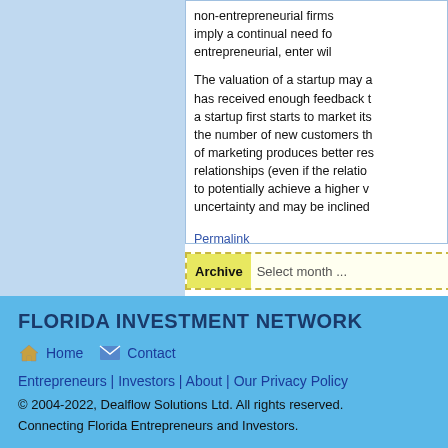non-entrepreneurial firms imply a continual need for entrepreneurial, enter wil
The valuation of a startup may a has received enough feedback t a startup first starts to market its the number of new customers th of marketing produces better res relationships (even if the relatio to potentially achieve a higher v uncertainty and may be inclined
Permalink
Archive  Select month ...
FLORIDA INVESTMENT NETWORK
Home  Contact
Entrepreneurs | Investors | About | Our Privacy Policy
© 2004-2022, Dealflow Solutions Ltd. All rights reserved.
Connecting Florida Entrepreneurs and Investors.